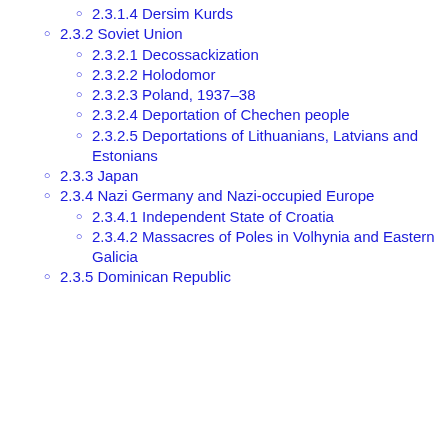2.3.1.4 Dersim Kurds
2.3.2 Soviet Union
2.3.2.1 Decossackization
2.3.2.2 Holodomor
2.3.2.3 Poland, 1937–38
2.3.2.4 Deportation of Chechen people
2.3.2.5 Deportations of Lithuanians, Latvians and Estonians
2.3.3 Japan
2.3.4 Nazi Germany and Nazi-occupied Europe
2.3.4.1 Independent State of Croatia
2.3.4.2 Massacres of Poles in Volhynia and Eastern Galicia
2.3.5 Dominican Republic